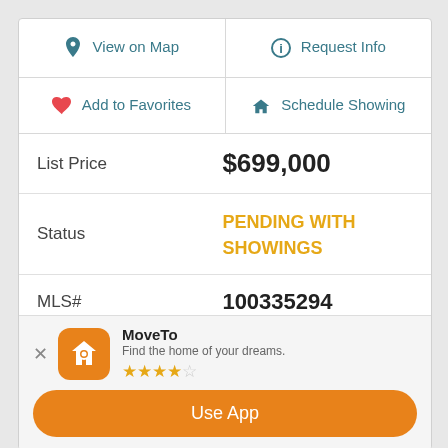| 📍 View on Map | ℹ Request Info |
| ♡ Add to Favorites | 🏠 Schedule Showing |
| List Price | $699,000 |
| Status | PENDING WITH SHOWINGS |
| MLS# | 100335294 |
| Days on Market | 56 |
| Year Built | 2022 |
MoveTo
Find the home of your dreams.
★★★★☆
Use App